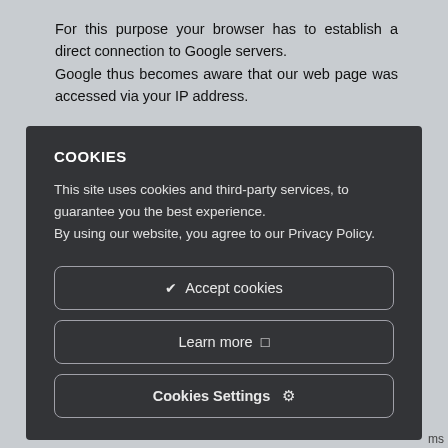For this purpose your browser has to establish a direct connection to Google servers.
Google thus becomes aware that our web page was accessed via your IP address.
COOKIES
This site uses cookies and third-party services, to guarantee you the best experience.
By using our website, you agree to our Privacy Policy.
✔  Accept cookies
Learn more  ❑
Cookies Settings  ⚙
If you visit one of our pages featuring a YouTube plugin, a
ms